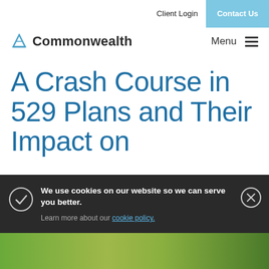Client Login  Contact Us
[Figure (logo): Commonwealth financial logo with stylized flag icon and the word Commonwealth]
Menu ≡
A Crash Course in 529 Plans and Their Impact on Financial Aid
We use cookies on our website so we can serve you better.
Learn more about our cookie policy.